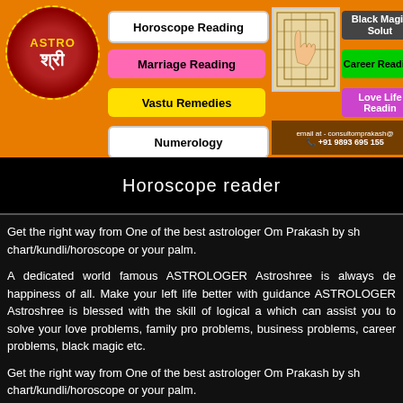[Figure (infographic): Astrology website header banner with orange background, logo, navigation buttons (Horoscope Reading, Marriage Reading, Vastu Remedies, Numerology, Black Magic Solution, Career Reading, Love Life Reading), yantra image, and contact info]
Horoscope reader
Get the right way from One of the best astrologer Om Prakash by sh chart/kundli/horoscope or your palm.
A dedicated world famous ASTROLOGER Astroshree is always de happiness of all. Make your left life better with guidance ASTROLOGER Astroshree is blessed with the skill of logical a which can assist you to solve your love problems, family pro problems, business problems, career problems, black magic etc.
Get the right way from One of the best astrologer Om Prakash by sh chart/kundli/horoscope or your palm.